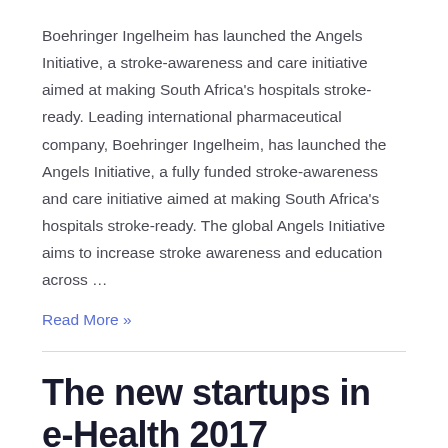Boehringer Ingelheim has launched the Angels Initiative, a stroke-awareness and care initiative aimed at making South Africa's hospitals stroke-ready. Leading international pharmaceutical company, Boehringer Ingelheim, has launched the Angels Initiative, a fully funded stroke-awareness and care initiative aimed at making South Africa's hospitals stroke-ready. The global Angels Initiative aims to increase stroke awareness and education across ...
Read More »
The new startups in e-Health 2017